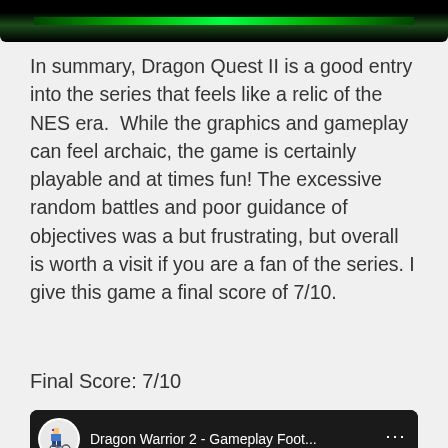[Figure (screenshot): Top strip showing bottom edge of a game screenshot with dark background and green pixel bar]
In summary, Dragon Quest II is a good entry into the series that feels like a relic of the NES era.  While the graphics and gameplay can feel archaic, the game is certainly playable and at times fun! The excessive random battles and poor guidance of objectives was a but frustrating, but overall is worth a visit if you are a fan of the series. I give this game a final score of 7/10.
Final Score: 7/10
[Figure (screenshot): Embedded YouTube video thumbnail showing Dragon Warrior 2 - Gameplay Foot... with channel icon, play button, and game screenshot showing 'Slime-A attacked! Ken's HP is reduced by' text at bottom]